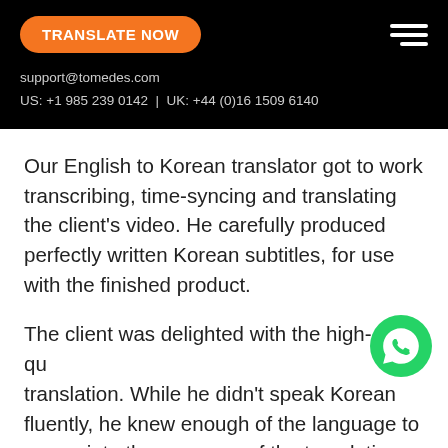TRANSLATE NOW
support@tomedes.com
US: +1 985 239 0142 | UK: +44 (0)16 1509 6140
Our English to Korean translator got to work transcribing, time-syncing and translating the client's video. He carefully produced perfectly written Korean subtitles, for use with the finished product.
The client was delighted with the high-quality translation. While he didn't speak Korean fluently, he knew enough of the language to appreciate the accuracy of the translation that we provided.